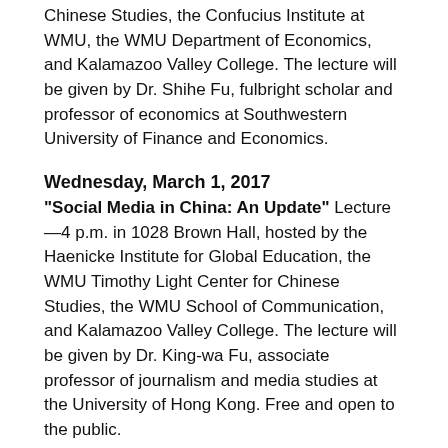Chinese Studies, the Confucius Institute at WMU, the WMU Department of Economics, and Kalamazoo Valley College. The lecture will be given by Dr. Shihe Fu, fulbright scholar and professor of economics at Southwestern University of Finance and Economics.
Wednesday, March 1, 2017
"Social Media in China: An Update" Lecture—4 p.m. in 1028 Brown Hall, hosted by the Haenicke Institute for Global Education, the WMU Timothy Light Center for Chinese Studies, the WMU School of Communication, and Kalamazoo Valley College. The lecture will be given by Dr. King-wa Fu, associate professor of journalism and media studies at the University of Hong Kong. Free and open to the public.
A research center of the Diether H. Haenicke Institute for Global Education.